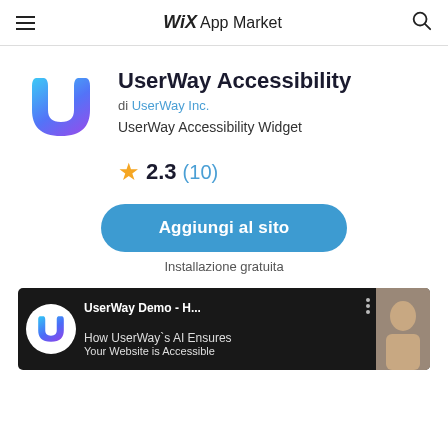Wix App Market
[Figure (logo): UserWay U-shaped logo in blue-to-purple gradient]
UserWay Accessibility
di UserWay Inc.
UserWay Accessibility Widget
★ 2.3 (10)
Aggiungi al sito
Installazione gratuita
[Figure (screenshot): Video thumbnail showing UserWay Demo - H... with logo circle, three-dot menu, and text 'How UserWay`s AI Ensures Your Website is Accessible']